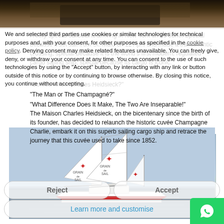[Figure (photo): Top portion of a dark product/bottle photo, partially cropped]
We and selected third parties use cookies or similar technologies for technical purposes and, with your consent, for other purposes as specified in the cookie policy. Denying consent may make related features unavailable. You can freely give, deny, or withdraw your consent at any time. You can consent to the use of such technologies by using the "Accept" button, by interacting with any link or button outside of this notice or by continuing to browse otherwise. By closing this notice, you continue without accepting.
A very special sailboat is arriving in New York on 16 June. Special because it set sail from St. Malo on 12 April and made a transatlantic crossing, special because it is the world’s first modern, regulated cargo sailing ship, special because its cargo is iconic.
"Do You Know Charles Heidsieck?"
"The Man or The Champagné?"
"What Difference Does It Make, The Two Are Inseparable!"
The Maison Charles Heidsieck, on the bicentenary since the birth of its founder, has decided to relaunch the historic cuvée Champagne Charlie, embark it on this superb sailing cargo ship and retrace the journey that this cuvée used to take since 1852.
Reject
Accept
Learn more and customise
[Figure (photo): Sailing cargo ship named Grain de Sail with white sails featuring red star logos, sailing on calm blue-grey water]